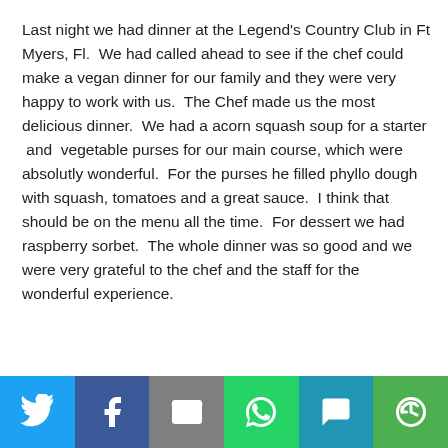Last night we had dinner at the Legend's Country Club in Ft Myers, Fl.  We had called ahead to see if the chef could make a vegan dinner for our family and they were very happy to work with us.  The Chef made us the most delicious dinner.  We had a acorn squash soup for a starter  and  vegetable purses for our main course, which were absolutly wonderful.  For the purses he filled phyllo dough with squash, tomatoes and a great sauce.  I think that should be on the menu all the time.  For dessert we had raspberry sorbet.  The whole dinner was so good and we were very grateful to the chef and the staff for the wonderful experience.
[Figure (infographic): Social sharing bar with icons for Twitter, Facebook, Email, WhatsApp, SMS, and More]